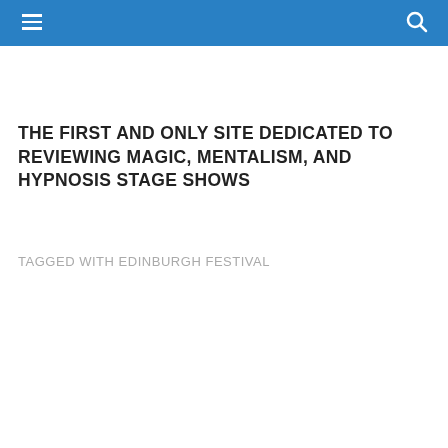THE FIRST AND ONLY SITE DEDICATED TO REVIEWING MAGIC, MENTALISM, AND HYPNOSIS STAGE SHOWS
TAGGED WITH EDINBURGH FESTIVAL